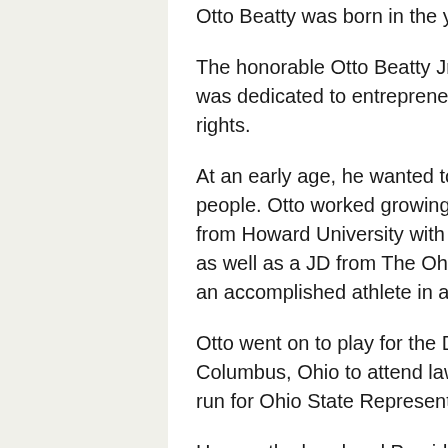Otto Beatty was born in the year 1948 in Columbus, Ohio.
The honorable Otto Beatty Jr. grew up in a community where his family was dedicated to entrepreneurship, advocacy, politics, civil, and voting rights.
At an early age, he wanted to make a difference representing the people. Otto worked growing up in the family business. He graduated from Howard University with a BA and an MA in business administration, as well as a JD from The Ohio State University College of Law. He was an accomplished athlete in all sports, awarded all letters in college.
Otto went on to play for the Denver Broncos, afterwards returning to Columbus, Ohio to attend law school. While in law school, he went on to run for Ohio State Representatives.
He was the head and President of the Franklin County Trial Lawyers Association as well as an